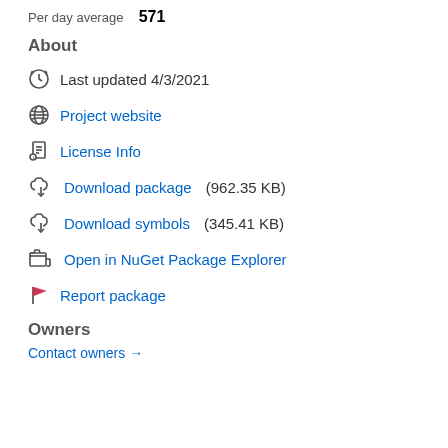Per day average  571
About
Last updated 4/3/2021
Project website
License Info
Download package  (962.35 KB)
Download symbols  (345.41 KB)
Open in NuGet Package Explorer
Report package
Owners
Contact owners →